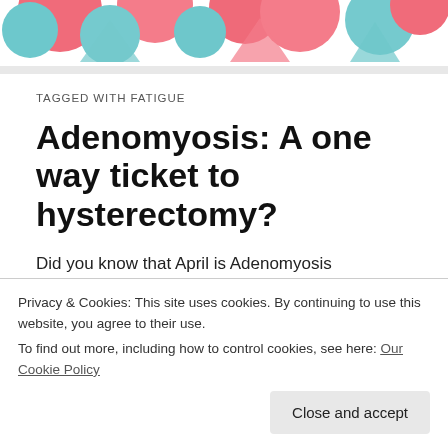[Figure (illustration): Colorful decorative banner with abstract shapes in pink, teal/blue colors]
TAGGED WITH FATIGUE
Adenomyosis: A one way ticket to hysterectomy?
Did you know that April is Adenomyosis awareness month?
[Figure (photo): Partial view of a purple circle (person avatar) and a colorful image below with text partially visible]
Privacy & Cookies: This site uses cookies. By continuing to use this website, you agree to their use.
To find out more, including how to control cookies, see here: Our Cookie Policy